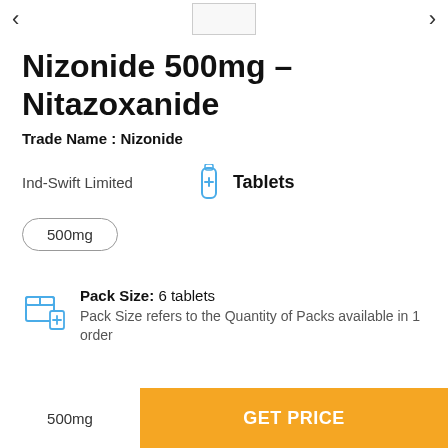< [thumbnail] >
Nizonide 500mg - Nitazoxanide
Trade Name : Nizonide
Ind-Swift Limited
Tablets
500mg
Pack Size: 6 tablets
Pack Size refers to the Quantity of Packs available in 1 order
500mg   GET PRICE